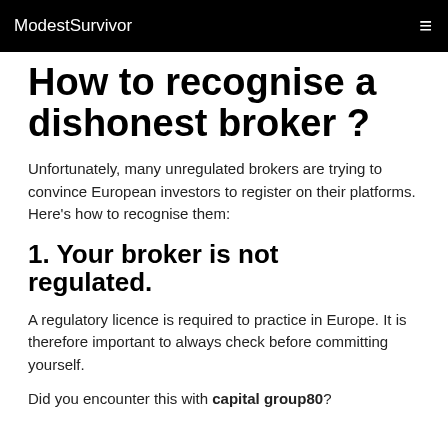ModestSurvivor
How to recognise a dishonest broker ?
Unfortunately, many unregulated brokers are trying to convince European investors to register on their platforms. Here's how to recognise them:
1. Your broker is not regulated.
A regulatory licence is required to practice in Europe. It is therefore important to always check before committing yourself.
Did you encounter this with capital group80?